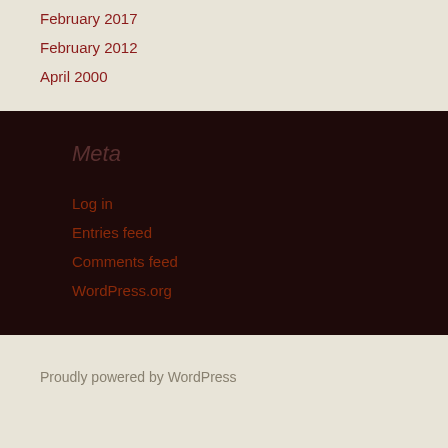February 2017
February 2012
April 2000
Meta
Log in
Entries feed
Comments feed
WordPress.org
Proudly powered by WordPress